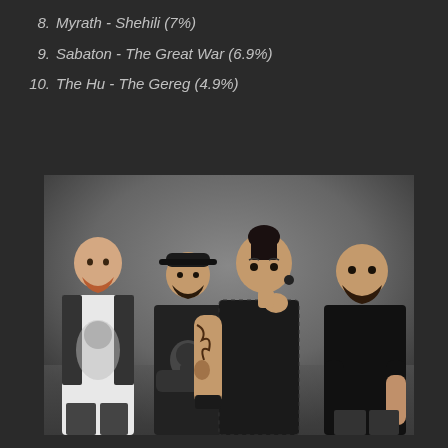8.  Myrath - Shehili (7%)
9.  Sabaton - The Great War (6.9%)
10.  The Hu - The Gereg (4.9%)
[Figure (photo): A band of four people posing against a grey background. From left: a bald man with a red beard wearing a white graphic t-shirt; a man with a beard wearing a black cap and black skull graphic t-shirt; a woman with dark hair in a bun, heavily tattooed arms, wearing a black mesh top; a man with a beard wearing a plain black t-shirt.]